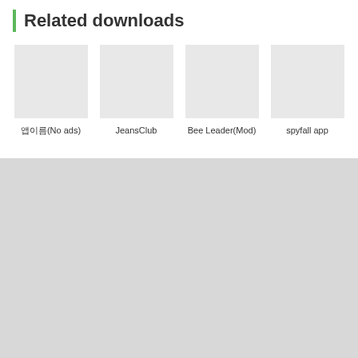Related downloads
[Figure (screenshot): Four app thumbnails shown as gray placeholder boxes for related downloads: 앱이름(No ads), JeansClub, Bee Leader(Mod), spyfall app]
앱이름(No ads)
JeansClub
Bee Leader(Mod)
spyfall app